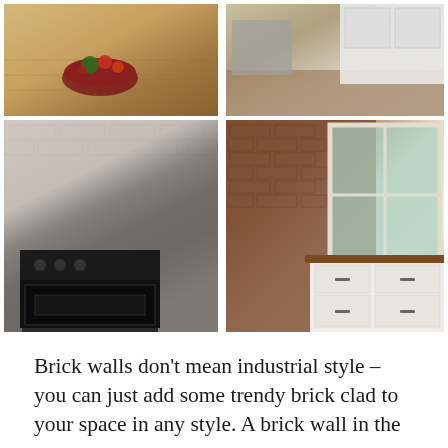[Figure (photo): Grid of four kitchen interior photos featuring brick walls. Top-left: wooden butcher block countertop with vegetables. Top-right: kitchen with hardwood floors and white cabinetry. Bottom-left: kitchen with whitewashed exposed brick wall and black range stove. Bottom-right: kitchen with dark red brick wall, white cabinets with dark hardware, wood countertop, and window.]
Brick walls don't mean industrial style – you can just add some trendy brick clad to your space in any style. A brick wall in the